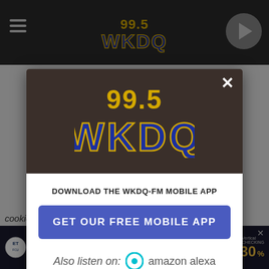[Figure (screenshot): 99.5 WKDQ radio station website header with hamburger menu and play button]
[Figure (logo): 99.5 WKDQ radio station logo in modal popup with yellow and blue stylized text]
DOWNLOAD THE WKDQ-FM MOBILE APP
GET OUR FREE MOBILE APP
Also listen on:  amazon alexa
cookie aisle at your grocery store and use them for s'mores
[Figure (screenshot): Evansville Teachers Federal Credit Union advertisement showing 3.30% rate]